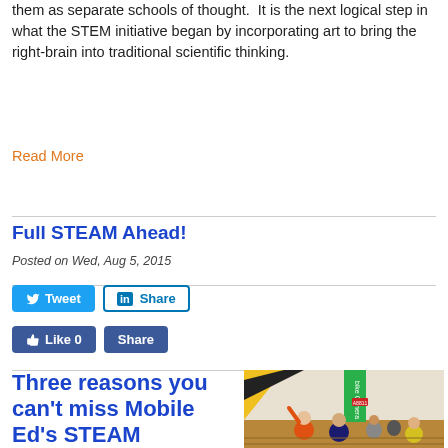them as separate schools of thought. It is the next logical step in what the STEM initiative began by incorporating art to bring the right-brain into traditional scientific thinking.
Read More
Full STEAM Ahead!
Posted on Wed, Aug 5, 2015
[Figure (screenshot): Social media share buttons: Tweet button (Twitter), Share button (LinkedIn), Like 0 button (Facebook), Share button (Facebook)]
Three reasons you can't miss Mobile Ed's STEAM Museum this
[Figure (photo): Children in a gymnasium looking at a green STEAM exhibit banner. Kids in orange and blue shirts facing away from camera toward displays.]